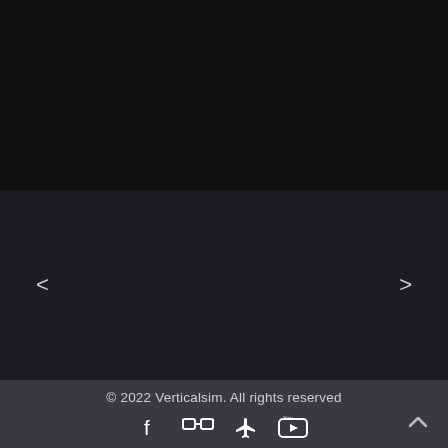[Figure (screenshot): Black top section of a website, likely a slideshow/carousel area]
[Figure (screenshot): Dark navigation section with left arrow '<' and right arrow '>' for carousel navigation]
© 2022 Verticalsim. All rights reserved
[Figure (infographic): Social media icons: Facebook, a cat/pet icon, airplane (FlightSim), YouTube]
[Figure (other): Scroll-to-top arrow button in bottom right corner]